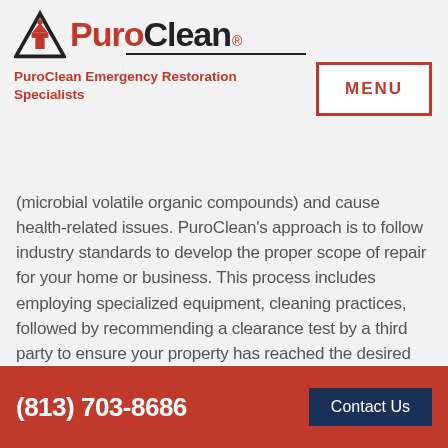[Figure (logo): PuroClean logo with triangle/house icon and wordmark 'PuroClean' with registered trademark symbol]
PuroClean Emergency Restoration Specialists
MENU
(microbial volatile organic compounds) and cause health-related issues. PuroClean's approach is to follow industry standards to develop the proper scope of repair for your home or business. This process includes employing specialized equipment, cleaning practices, followed by recommending a clearance test by a third party to ensure your property has reached the desired goal.
(813) 703-8686   Contact Us